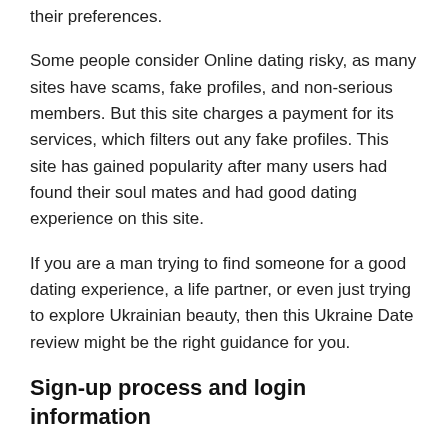their preferences.
Some people consider Online dating risky, as many sites have scams, fake profiles, and non-serious members. But this site charges a payment for its services, which filters out any fake profiles. This site has gained popularity after many users had found their soul mates and had good dating experience on this site.
If you are a man trying to find someone for a good dating experience, a life partner, or even just trying to explore Ukrainian beauty, then this Ukraine Date review might be the right guidance for you.
Sign-up process and login information
The sign-up process is straightforward and easy. Users have to put in their name, gender, the gender they are looking 26% their age, email, password, and then click a purple button,